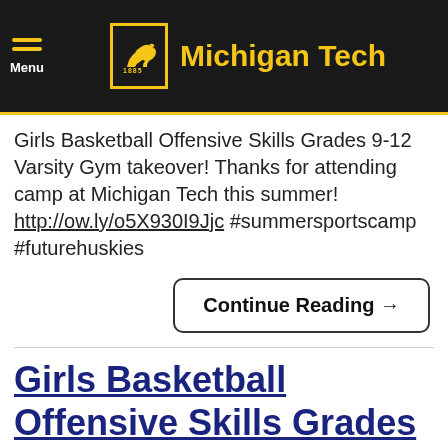Michigan Tech
Girls Basketball Offensive Skills Grades 9-12 Varsity Gym takeover! Thanks for attending camp at Michigan Tech this summer! http://ow.ly/o5X930I9Jjc #summersportscamp #futurehuskies
Continue Reading →
Girls Basketball Offensive Skills Grades 6-8 Varsity Gym takeover!